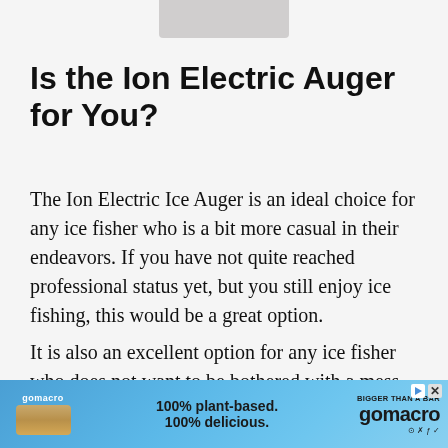[Figure (other): Gray placeholder image bar at top of page]
Is the Ion Electric Auger for You?
The Ion Electric Ice Auger is an ideal choice for any ice fisher who is a bit more casual in their endeavors. If you have not quite reached professional status yet, but you still enjoy ice fishing, this would be a great option.
It is also an excellent option for any ice fisher who does not want to be bothered with a mess, whether it be oil, gas, or excessive ice.
[Figure (other): Advertisement banner for GoMacro: 100% plant-based. 100% delicious. with product image and logo]